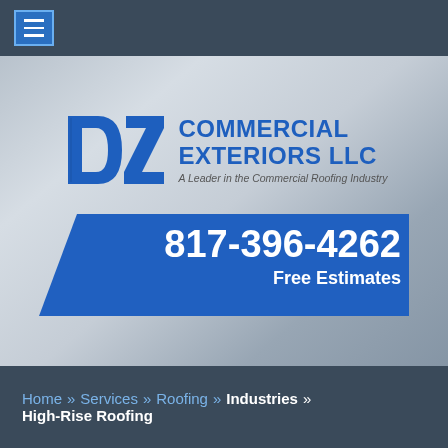[Figure (logo): DZ Commercial Exteriors LLC logo with tagline 'A Leader in the Commercial Roofing Industry' and phone number 817-396-4262 with Free Estimates banner]
Home » Services » Roofing » Industries » High-Rise Roofing